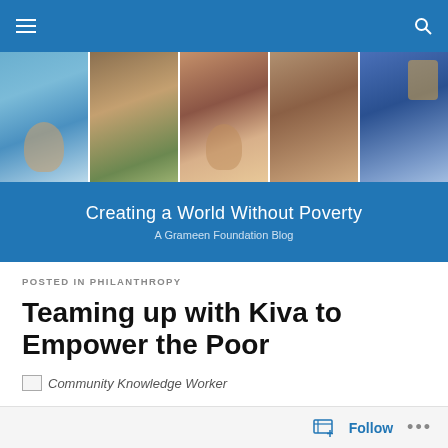Navigation bar with menu and search icons
[Figure (photo): Blog header banner with five photo strips showing people from developing countries, with blue overlay text 'Creating a World Without Poverty – A Grameen Foundation Blog']
Creating a World Without Poverty
A Grameen Foundation Blog
POSTED IN PHILANTHROPY
Teaming up with Kiva to Empower the Poor
[Figure (photo): Community Knowledge Worker image (broken/loading image placeholder)]
Follow